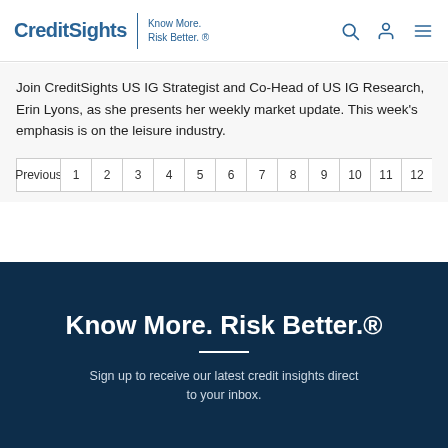CreditSights | Know More. Risk Better. ®
Join CreditSights US IG Strategist and Co-Head of US IG Research, Erin Lyons, as she presents her weekly market update. This week's emphasis is on the leisure industry.
Previous 1 2 3 4 5 6 7 8 9 10 11 12
Know More. Risk Better.®
Sign up to receive our latest credit insights direct to your inbox.